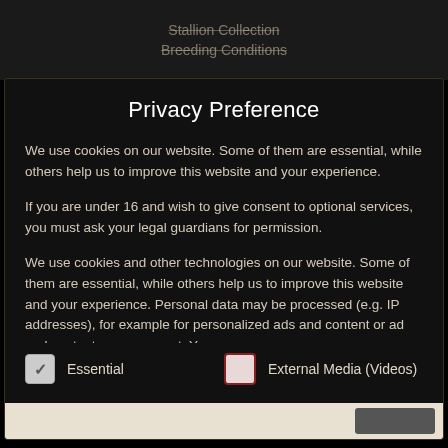Stallion Collection
Breeding Conditions
Privacy Preference
We use cookies on our website. Some of them are essential, while others help us to improve this website and your experience.
If you are under 16 and wish to give consent to optional services, you must ask your legal guardians for permission.
We use cookies and other technologies on our website. Some of them are essential, while others help us to improve this website and your experience. Personal data may be processed (e.g. IP addresses), for example for personalized ads and content or ad and content measurement. You can
Essential
External Media (Videos)